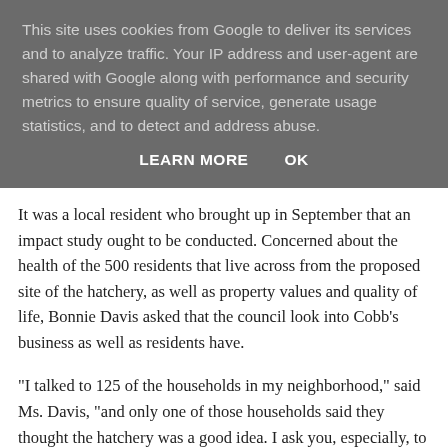This site uses cookies from Google to deliver its services and to analyze traffic. Your IP address and user-agent are shared with Google along with performance and security metrics to ensure quality of service, generate usage statistics, and to detect and address abuse.
LEARN MORE   OK
It was a local resident who brought up in September that an impact study ought to be conducted. Concerned about the health of the 500 residents that live across from the proposed site of the hatchery, as well as property values and quality of life, Bonnie Davis asked that the council look into Cobb's business as well as residents have.
“I talked to 125 of the households in my neighborhood,” said Ms. Davis, “and only one of those households said they thought the hatchery was a good idea. I ask you, especially, to look into the impact on those of us who live across the street from the industrial park.”
Doesn’t sound like Cobb’s threat to take their chickens and